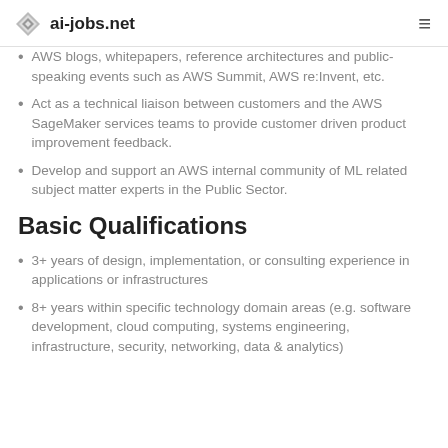ai-jobs.net
AWS blogs, whitepapers, reference architectures and public-speaking events such as AWS Summit, AWS re:Invent, etc.
Act as a technical liaison between customers and the AWS SageMaker services teams to provide customer driven product improvement feedback.
Develop and support an AWS internal community of ML related subject matter experts in the Public Sector.
Basic Qualifications
3+ years of design, implementation, or consulting experience in applications or infrastructures
8+ years within specific technology domain areas (e.g. software development, cloud computing, systems engineering, infrastructure, security, networking, data & analytics)